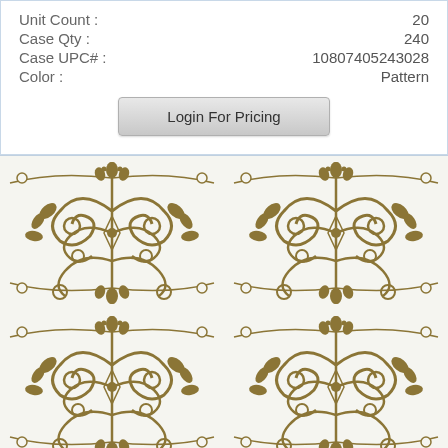Unit Count : 20
Case Qty : 240
Case UPC# : 10807405243028
Color : Pattern
Login For Pricing
[Figure (photo): Gold and white damask / baroque ornamental pattern printed on fabric or paper, showing repeating fleur-de-lis and scrollwork motifs in gold on white background]